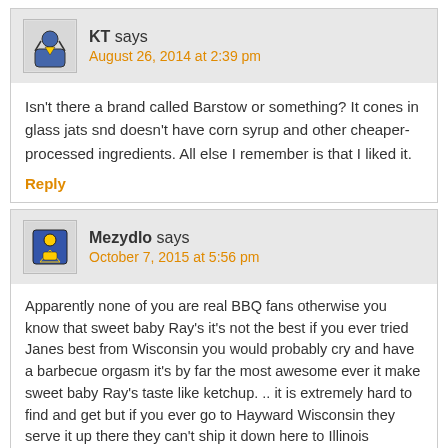KT says
August 26, 2014 at 2:39 pm
Isn't there a brand called Barstow or something? It cones in glass jats snd doesn't have corn syrup and other cheaper-processed ingredients. All else I remember is that I liked it.
Reply
Mezydlo says
October 7, 2015 at 5:56 pm
Apparently none of you are real BBQ fans otherwise you know that sweet baby Ray's it's not the best if you ever tried Janes best from Wisconsin you would probably cry and have a barbecue orgasm it's by far the most awesome ever it make sweet baby Ray's taste like ketchup. .. it is extremely hard to find and get but if you ever go to Hayward Wisconsin they serve it up there they can't ship it down here to Illinois because of some crazy reason I tried to get it down here but I have to have it sent from Wisconsin it's a little bit pricey but trust me worth every penny
Reply